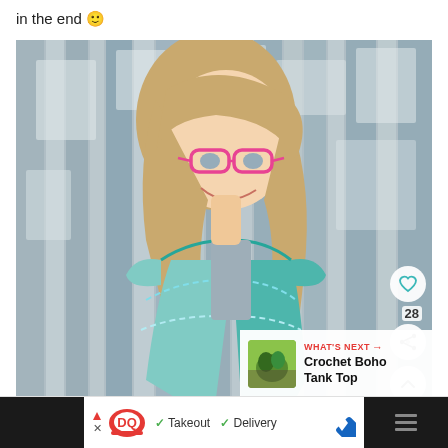in the end 🙂
[Figure (photo): A smiling young girl with blonde hair and pink glasses, wearing a teal/turquoise crochet vest over a grey top, posed in front of a distressed white/grey painted wood plank wall. UI overlays include a heart/like button (28 likes), share button, collapse button, and a 'What's Next → Crochet Boho Tank Top' card in the lower right.]
[Figure (infographic): Advertisement bar: Dairy Queen (DQ) logo with checkmarks for Takeout and Delivery. Navigation icons on the right (diamond shape and menu bars). Dark side panels on left and right.]